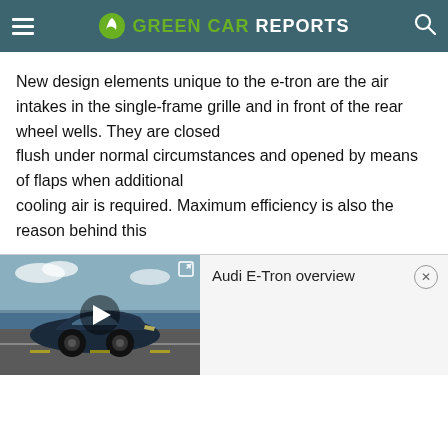GREEN CAR REPORTS
New design elements unique to the e-tron are the air intakes in the single-frame grille and in front of the rear wheel wells. They are closed flush under normal circumstances and opened by means of flaps when additional cooling air is required. Maximum efficiency is also the reason behind this
[Figure (screenshot): Video player showing Audi E-Tron overview with a dark blue Audi car driving on a road, with a play button overlay and expand icon]
Audi E-Tron overview